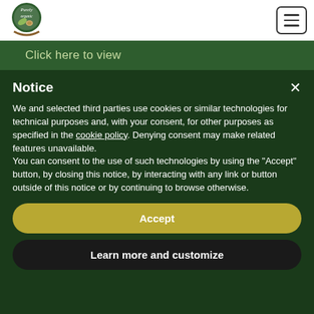[Figure (logo): Purely Organic circular logo with leaf and nut illustration]
Click here to view
Notice
We and selected third parties use cookies or similar technologies for technical purposes and, with your consent, for other purposes as specified in the cookie policy. Denying consent may make related features unavailable.
You can consent to the use of such technologies by using the "Accept" button, by closing this notice, by interacting with any link or button outside of this notice or by continuing to browse otherwise.
Accept
Learn more and customize